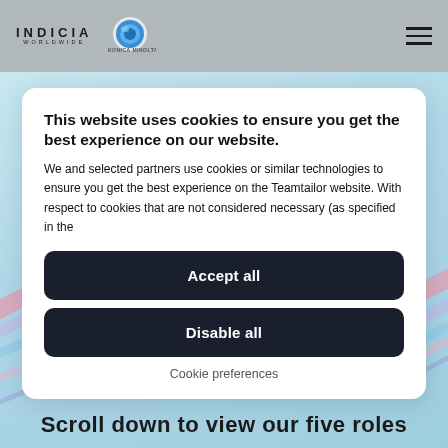INDICIA WORLDWIDE | KONICA MINOLTA
This website uses cookies to ensure you get the best experience on our website.
We and selected partners use cookies or similar technologies to ensure you get the best experience on the Teamtailor website. With respect to cookies that are not considered necessary (as specified in the
Accept all
Disable all
Cookie preferences
Scroll down to view our five roles